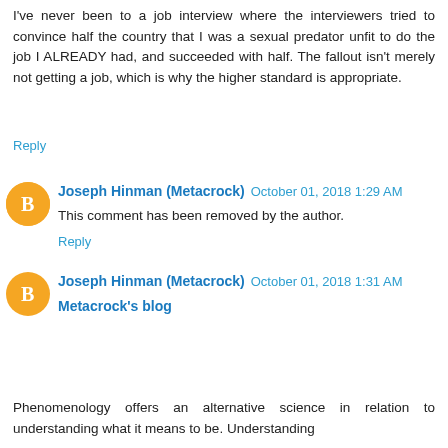I've never been to a job interview where the interviewers tried to convince half the country that I was a sexual predator unfit to do the job I ALREADY had, and succeeded with half. The fallout isn't merely not getting a job, which is why the higher standard is appropriate.
Reply
Joseph Hinman (Metacrock) October 01, 2018 1:29 AM
This comment has been removed by the author.
Reply
Joseph Hinman (Metacrock) October 01, 2018 1:31 AM
Metacrock's blog
Phenomenology offers an alternative science in relation to understanding what it means to be. Understanding